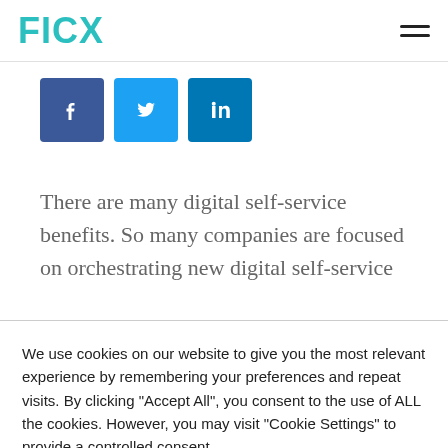FICX
[Figure (other): Social share buttons: Facebook, Twitter, LinkedIn]
There are many digital self-service benefits. So many companies are focused on orchestrating new digital self-service
We use cookies on our website to give you the most relevant experience by remembering your preferences and repeat visits. By clicking "Accept All", you consent to the use of ALL the cookies. However, you may visit "Cookie Settings" to provide a controlled consent.